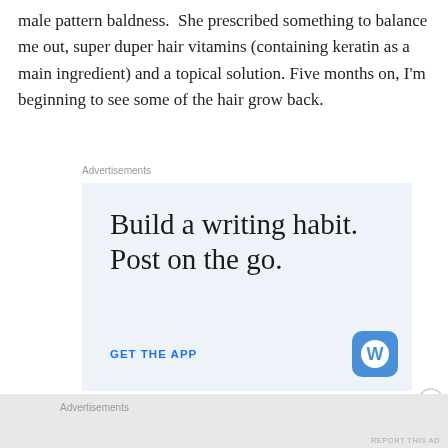male pattern baldness.  She prescribed something to balance me out, super duper hair vitamins (containing keratin as a main ingredient) and a topical solution. Five months on, I'm beginning to see some of the hair grow back.
Advertisements
[Figure (screenshot): WordPress advertisement: 'Build a writing habit. Post on the go.' with a 'GET THE APP' call-to-action button and WordPress logo on a light blue background.]
Advertisements
REPORT THIS AD